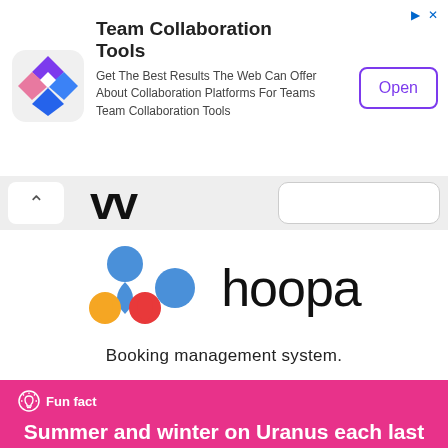[Figure (screenshot): Ad banner for Team Collaboration Tools with colorful mosaic logo, text description, and Open button]
Team Collaboration Tools
Get The Best Results The Web Can Offer About Collaboration Platforms For Teams Team Collaboration Tools
[Figure (screenshot): Navigation bar with back chevron, WW large letters, and search bar]
[Figure (logo): Whoopa app logo: colorful teardrop/circle icon on left and 'whoopa' wordmark on right]
Booking management system.
Fun fact
Summer and winter on Uranus each last 21 Earth years.